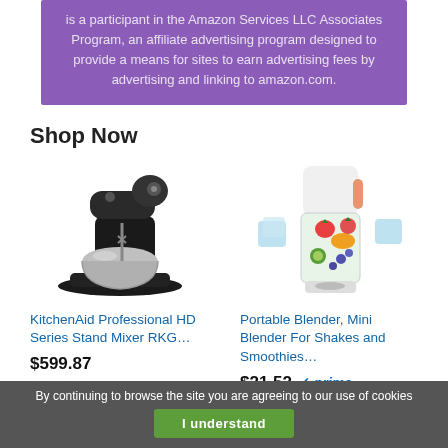is a participant in the Amazon Services LLC Associates Program, an affiliate advertising program designed to provide a means for sites to earn advertising fees by advertising and linking to amazon.com.
Shop Now
[Figure (photo): KitchenAid Professional HD Series Stand Mixer, black color]
KitchenAid Professional HD Series Stand Mixer RKG…
$599.87
[Figure (photo): Portable blender with fruits and ice cubes, white container with orange accent]
Portable Blender, Mini Blender For Shakes and Smoothies…
$21.52 ✓prime
By continuing to browse the site you are agreeing to our use of cookies
I understand